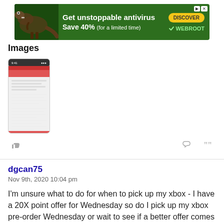[Figure (screenshot): Webroot antivirus advertisement banner with dinosaur image, text 'Get unstoppable antivirus Save 40% (for a limited time)', DISCOVER button, and WEBROOT logo]
Images
[Figure (screenshot): Small thumbnail of a phone screen showing a mobile app with red header and text content]
dgcan75
Nov 9th, 2020 10:04 pm

I'm unsure what to do for when to pick up my xbox - I have a 20X point offer for Wednesday so do I pick up my xbox pre-order Wednesday or wait to see if a better offer comes in. I plan to use 500K points towards the